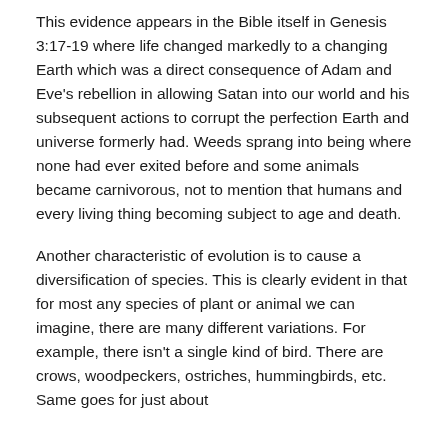This evidence appears in the Bible itself in Genesis 3:17-19 where life changed markedly to a changing Earth which was a direct consequence of Adam and Eve's rebellion in allowing Satan into our world and his subsequent actions to corrupt the perfection Earth and universe formerly had. Weeds sprang into being where none had ever exited before and some animals became carnivorous, not to mention that humans and every living thing becoming subject to age and death.
Another characteristic of evolution is to cause a diversification of species. This is clearly evident in that for most any species of plant or animal we can imagine, there are many different variations. For example, there isn't a single kind of bird. There are crows, woodpeckers, ostriches, hummingbirds, etc. Same goes for just about